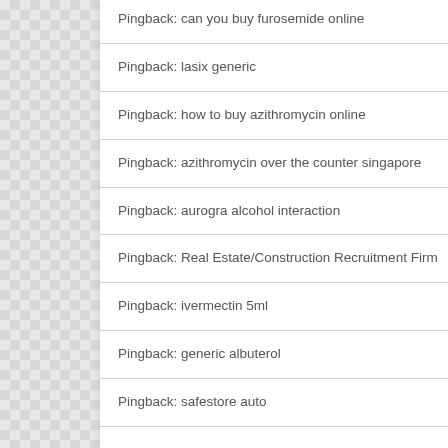Pingback: can you buy furosemide online
Pingback: lasix generic
Pingback: how to buy azithromycin online
Pingback: azithromycin over the counter singapore
Pingback: aurogra alcohol interaction
Pingback: Real Estate/Construction Recruitment Firm
Pingback: ivermectin 5ml
Pingback: generic albuterol
Pingback: safestore auto